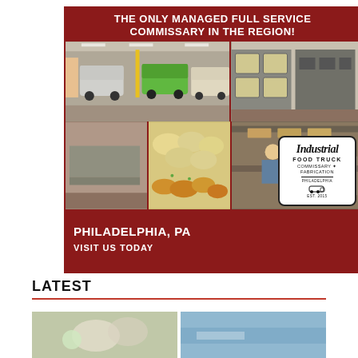[Figure (infographic): Advertisement for Industrial Food Truck Commissary & Fabrication in Philadelphia, PA. Red background with photo collage of food trucks, commercial kitchen equipment, food prep, and workers. Text reads: THE ONLY MANAGED FULL SERVICE COMMISSARY IN THE REGION! PHILADELPHIA, PA VISIT US TODAY. Industrial Food Truck logo badge in corner.]
LATEST
[Figure (photo): Two partial images at the bottom of the page — left appears to show food/produce on a light background, right shows a blue-toned background, likely articles or blog post thumbnails.]